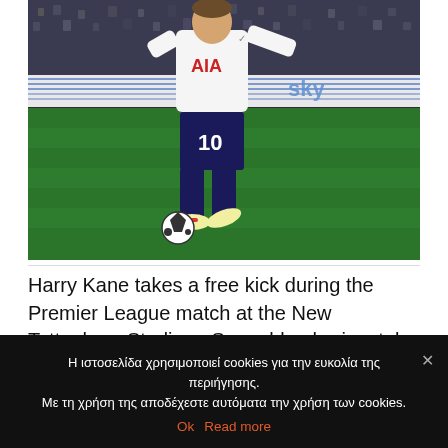[Figure (photo): Harry Kane in a Tottenham Hotspur white AIA jersey with number 10, taking a free kick on a grass pitch at night. Blue horizontal lines visible on white LED ad board in background. Sky Sports branding visible.]
Harry Kane takes a free kick during the Premier League match at the New Tottenham Stadium. Some blue horizontal lines are visible in the white LED ad board in the background.
Η ιστοσελίδα χρησιμοποιεί cookies για την ευκολία της περιήγησης. Με τη χρήση της αποδέχεστε αυτόματα την χρήση των cookies.
Ok  Read more